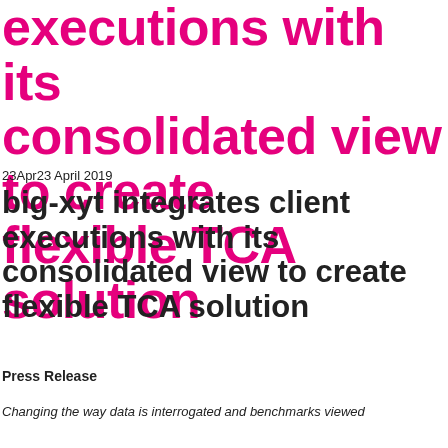executions with its consolidated view to create flexible TCA solution
23Apr23 April 2019
big-xyt integrates client executions with its consolidated view to create flexible TCA solution
Press Release
Changing the way data is interrogated and benchmarks viewed